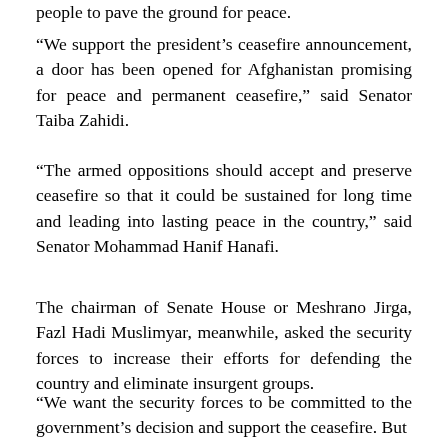people to pave the ground for peace.
“We support the president’s ceasefire announcement, a door has been opened for Afghanistan promising for peace and permanent ceasefire,” said Senator Taiba Zahidi.
“The armed oppositions should accept and preserve ceasefire so that it could be sustained for long time and leading into lasting peace in the country,” said Senator Mohammad Hanif Hanafi.
The chairman of Senate House or Meshrano Jirga, Fazl Hadi Muslimyar, meanwhile, asked the security forces to increase their efforts for defending the country and eliminate insurgent groups.
“We want the security forces to be committed to the government’s decision and support the ceasefire. But